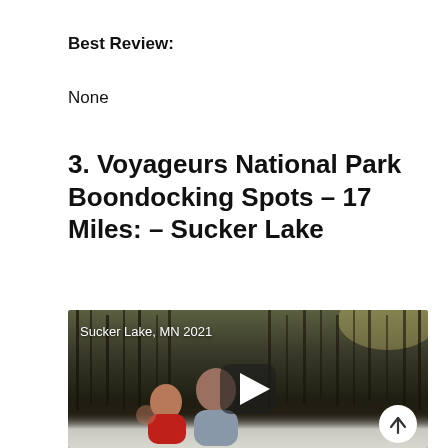Best Review:
None
3. Voyageurs National Park Boondocking Spots – 17 Miles: – Sucker Lake
[Figure (screenshot): Video thumbnail showing two people (one in a red jacket) standing in a snowy forest at Sucker Lake, MN 2021, with a play button overlay and a scroll-up arrow button in the bottom right corner.]